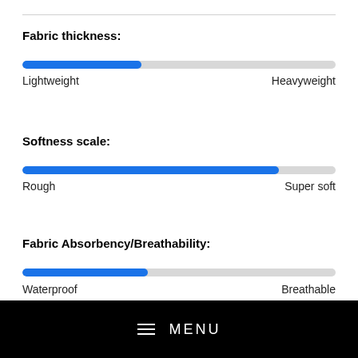Fabric thickness:
[Figure (infographic): Horizontal progress bar showing fabric thickness from Lightweight to Heavyweight. Bar is approximately 38% filled in blue.]
Lightweight — Heavyweight
Softness scale:
[Figure (infographic): Horizontal progress bar showing softness scale from Rough to Super soft. Bar is approximately 82% filled in blue.]
Rough — Super soft
Fabric Absorbency/Breathability:
[Figure (infographic): Horizontal progress bar showing absorbency/breathability from Waterproof to Breathable. Bar is approximately 40% filled in blue.]
Waterproof — Breathable
≡  MENU